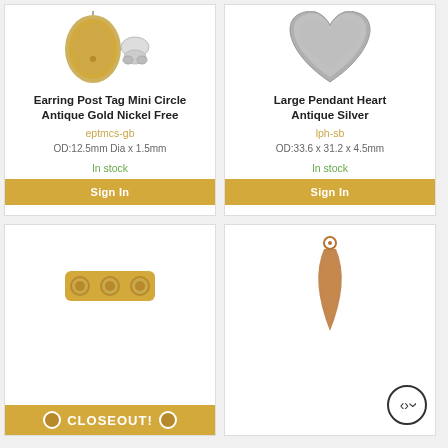[Figure (photo): Earring Post Tag Mini Circle Antique Gold with backing hardware]
Earring Post Tag Mini Circle Antique Gold Nickel Free
eptmcs-gb
OD:12.5mm Dia x 1.5mm
In stock
Sign In
[Figure (photo): Large Pendant Heart Antique Silver]
Large Pendant Heart Antique Silver
lph-sb
OD:33.6 x 31.2 x 4.5mm
In stock
Sign In
[Figure (photo): Closeout item - gold connector piece with circles]
CLOSEOUT!
[Figure (photo): Copper teardrop/spike pendant with hole at top]